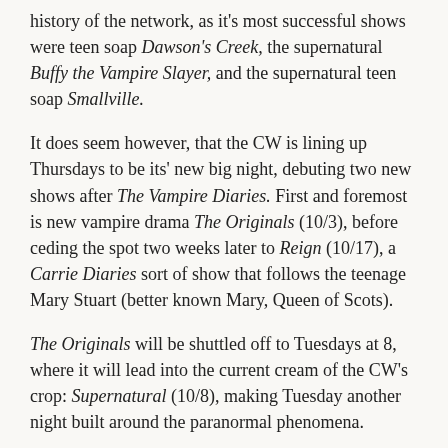history of the network, as it's most successful shows were teen soap Dawson's Creek, the supernatural Buffy the Vampire Slayer, and the supernatural teen soap Smallville.
It does seem however, that the CW is lining up Thursdays to be its' new big night, debuting two new shows after The Vampire Diaries. First and foremost is new vampire drama The Originals (10/3), before ceding the spot two weeks later to Reign (10/17), a Carrie Diaries sort of show that follows the teenage Mary Stuart (better known Mary, Queen of Scots).
The Originals will be shuttled off to Tuesdays at 8, where it will lead into the current cream of the CW's crop: Supernatural (10/8), making Tuesday another night built around the paranormal phenomena.